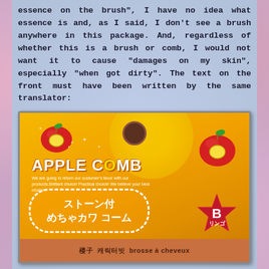essence on the brush”, I have no idea what essence is and, as I said, I don’t see a brush anywhere in this package. And, regardless of whether this is a brush or comb, I would not want it to cause “damages on my skin”, especially “when got dirty”. The text on the front must have been written by the same translator:
[Figure (photo): Photo of an orange Apple Comb product package featuring apple logos, Japanese text (ストーン付 めちゃカワ コーム), a star-shaped B badge, the brand name APPLE COMB, and multilingual text at the bottom including Chinese, Korean, and French (brosse à cheveux).]